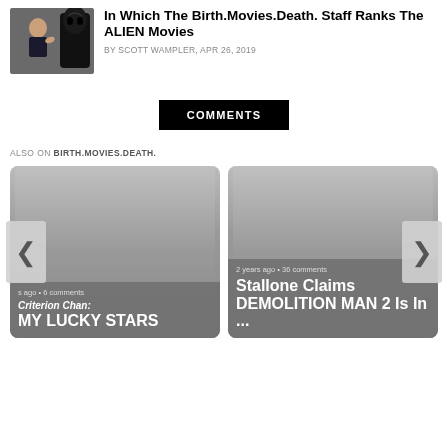[Figure (photo): Photo of a woman giving thumbs up next to a dark alien creature costume]
In Which The Birth.Movies.Death. Staff Ranks The ALIEN Movies
By SCOTT WAMPLER, Apr 26, 2019
COMMENTS
ALSO ON BIRTH.MOVIES.DEATH.
[Figure (screenshot): Card thumbnail: Criterion Chan: MY LUCKY STARS — s ago • 6 comments]
[Figure (screenshot): Card thumbnail: Stallone Claims DEMOLITION MAN 2 Is In ... — 2 years ago • 36 comments]